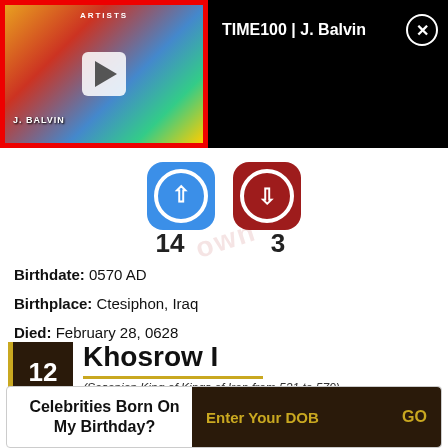[Figure (screenshot): Video thumbnail for TIME100 | J. Balvin with red border and play button]
TIME100 | J. Balvin
[Figure (infographic): Blue upvote button with circle arrow up icon, count 14; Red downvote button with circle arrow down icon, count 3]
Birthdate: 0570 AD
Birthplace: Ctesiphon, Iraq
Died: February 28, 0628
12   Khosrow I
(Sasanian King of Kings of Iran from 531 to 579)
Celebrities Born On My Birthday?  Enter Your DOB  GO